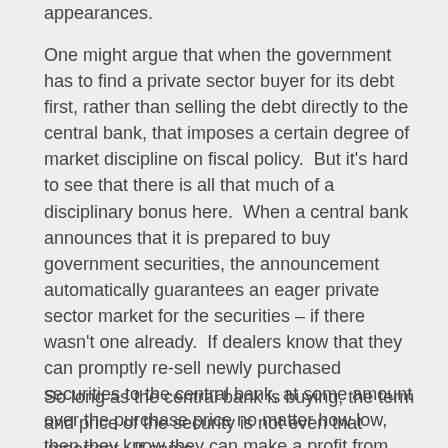appearances.
One might argue that when the government has to find a private sector buyer for its debt first, rather than selling the debt directly to the central bank, that imposes a certain degree of market discipline on fiscal policy.  But it's hard to see that there is all that much of a disciplinary bonus here.  When a central bank announces that it is prepared to buy government securities, the announcement automatically guarantees an eager private sector market for the securities – if there wasn't one already.  If dealers know that they can promptly re-sell newly purchased securities to the central bank, at some amount over the purchase price no matter how low, then they know they can make a profit from the purchase.
So long as the central bank is buying, the term and price of the security is not even that important.  If some